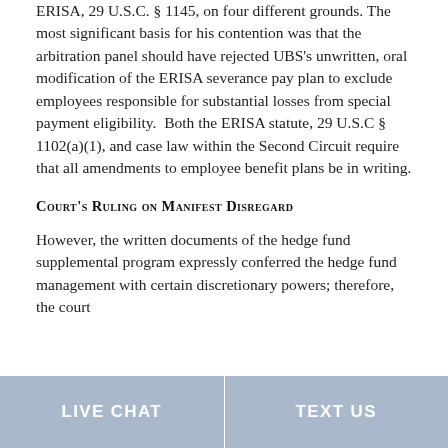ERISA, 29 U.S.C. § 1145, on four different grounds. The most significant basis for his contention was that the arbitration panel should have rejected UBS's unwritten, oral modification of the ERISA severance pay plan to exclude employees responsible for substantial losses from special payment eligibility.  Both the ERISA statute, 29 U.S.C § 1102(a)(1), and case law within the Second Circuit require that all amendments to employee benefit plans be in writing.
Court's Ruling on Manifest Disregard
However, the written documents of the hedge fund supplemental program expressly conferred the hedge fund management with certain discretionary powers; therefore, the court
LIVE CHAT   TEXT US